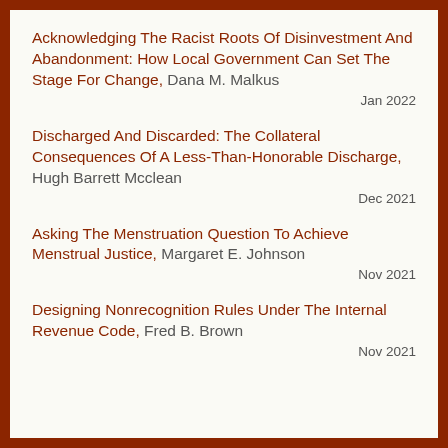Acknowledging The Racist Roots Of Disinvestment And Abandonment: How Local Government Can Set The Stage For Change, Dana M. Malkus
Jan 2022
Discharged And Discarded: The Collateral Consequences Of A Less-Than-Honorable Discharge, Hugh Barrett Mcclean
Dec 2021
Asking The Menstruation Question To Achieve Menstrual Justice, Margaret E. Johnson
Nov 2021
Designing Nonrecognition Rules Under The Internal Revenue Code, Fred B. Brown
Nov 2021